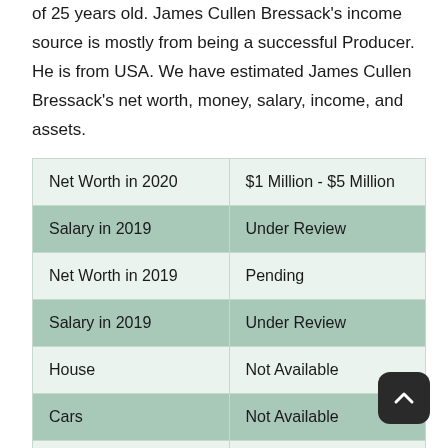of 25 years old. James Cullen Bressack's income source is mostly from being a successful Producer. He is from USA. We have estimated James Cullen Bressack's net worth, money, salary, income, and assets.
| Net Worth in 2020 | $1 Million - $5 Million |
| Salary in 2019 | Under Review |
| Net Worth in 2019 | Pending |
| Salary in 2019 | Under Review |
| House | Not Available |
| Cars | Not Available |
| Source of Income | Producer |